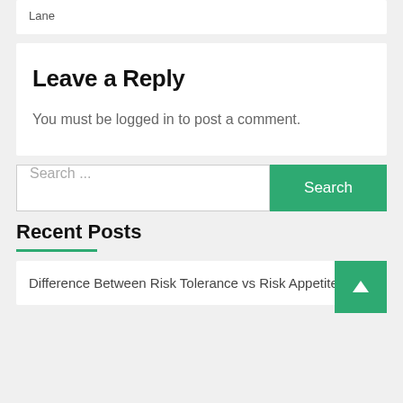Lane
Leave a Reply
You must be logged in to post a comment.
Search ...
Recent Posts
Difference Between Risk Tolerance vs Risk Appetite